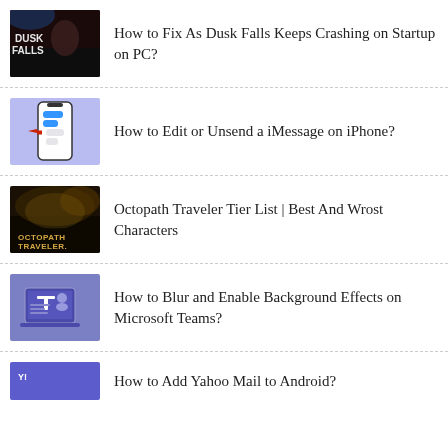How to Fix As Dusk Falls Keeps Crashing on Startup on PC?
How to Edit or Unsend a iMessage on iPhone?
Octopath Traveler Tier List | Best And Wrost Characters
How to Blur and Enable Background Effects on Microsoft Teams?
How to Add Yahoo Mail to Android?